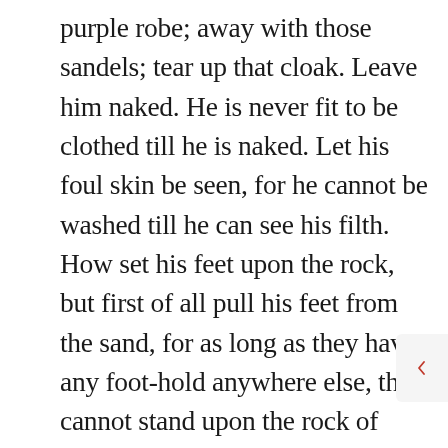purple robe; away with those sandels; tear up that cloak. Leave him naked. He is never fit to be clothed till he is naked. Let his foul skin be seen, for he cannot be washed till he can see his filth. How set his feet upon the rock, but first of all pull his feet from the sand, for as long as they have any foot-hold anywhere else, they cannot stand upon the rock of ages safely and securely. I hope that very many of you do know that your iniquities, like the wind, will carry you away, unless you have the grace of God.